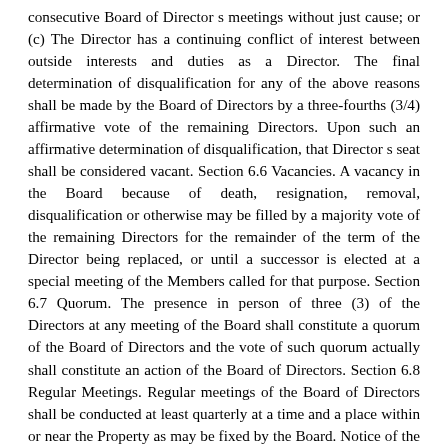consecutive Board of Director s meetings without just cause; or (c) The Director has a continuing conflict of interest between outside interests and duties as a Director. The final determination of disqualification for any of the above reasons shall be made by the Board of Directors by a three-fourths (3/4) affirmative vote of the remaining Directors. Upon such an affirmative determination of disqualification, that Director s seat shall be considered vacant. Section 6.6 Vacancies. A vacancy in the Board because of death, resignation, removal, disqualification or otherwise may be filled by a majority vote of the remaining Directors for the remainder of the term of the Director being replaced, or until a successor is elected at a special meeting of the Members called for that purpose. Section 6.7 Quorum. The presence in person of three (3) of the Directors at any meeting of the Board shall constitute a quorum of the Board of Directors and the vote of such quorum actually shall constitute an action of the Board of Directors. Section 6.8 Regular Meetings. Regular meetings of the Board of Directors shall be conducted at least quarterly at a time and a place within or near the Property as may be fixed by the Board. Notice of the time and the place of the regular meetings of the